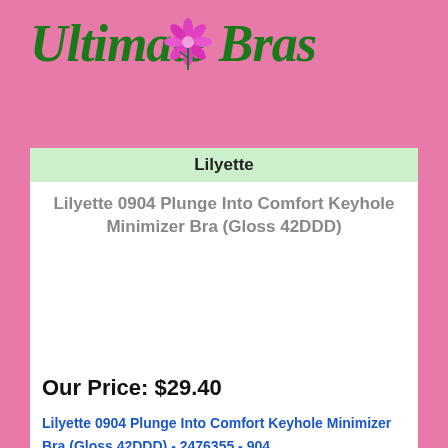[Figure (logo): Ultimate Bras logo with dark green stylized serif text and a pink/magenta flower graphic above the letters]
Lilyette
Lilyette 0904 Plunge Into Comfort Keyhole Minimizer Bra (Gloss 42DDD)
Our Price:  $29.40
Lilyette 0904 Plunge Into Comfort Keyhole Minimizer Bra (Gloss 42DDD) - 2476355 - 904
Lilyette Plunge Into Comfort Keyhole Minimizer Bra (0904). Designed for the full-busted woman, this